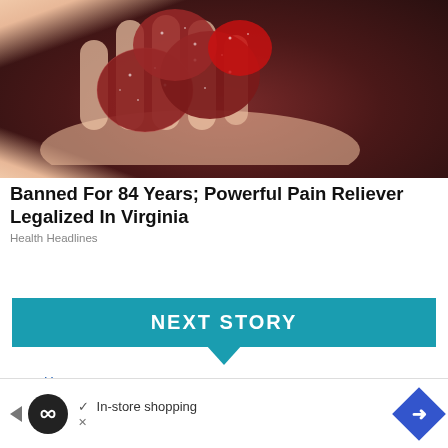[Figure (photo): A hand holding several dark red sugar-coated gummy candies/supplements against a dark background]
Banned For 84 Years; Powerful Pain Reliever Legalized In Virginia
Health Headlines
NEXT STORY
Home
International
World News & Politics
Endless patrol queues become point of pride in
[Figure (other): Advertisement bar: infinity logo, In-store shopping text, navigation arrow diamond icon]